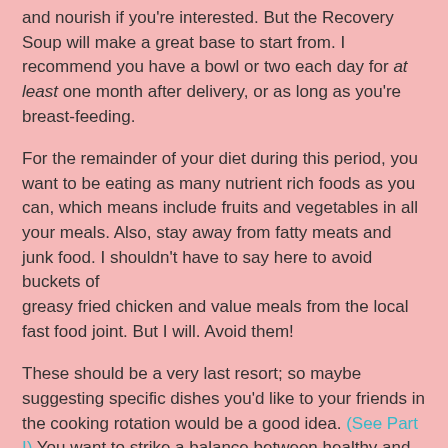and nourish if you're interested. But the Recovery Soup will make a great base to start from. I recommend you have a bowl or two each day for at least one month after delivery, or as long as you're breast-feeding.
For the remainder of your diet during this period, you want to be eating as many nutrient rich foods as you can, which means include fruits and vegetables in all your meals. Also, stay away from fatty meats and junk food. I shouldn't have to say here to avoid buckets of greasy fried chicken and value meals from the local fast food joint. But I will. Avoid them!
These should be a very last resort; so maybe suggesting specific dishes you'd like to your friends in the cooking rotation would be a good idea. (See Part I) You want to strike a balance between healthy and tasty.
With the combination of rest and a nutritious diet, you should be well on your way to recovering from your delivery, and thereby reducing the chances of your symptoms flaring up. If you're not interested in the diet, then the best thing to do is